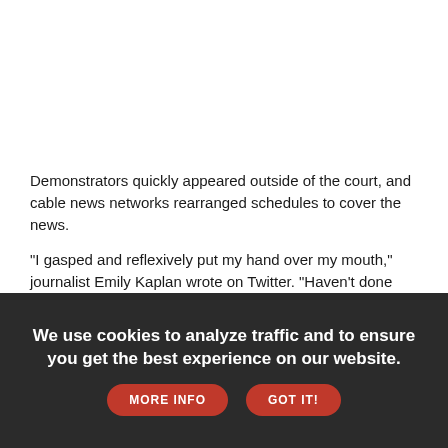Demonstrators quickly appeared outside of the court, and cable news networks rearranged schedules to cover the news.
"I gasped and reflexively put my hand over my mouth," journalist Emily Kaplan wrote on Twitter. "Haven't done that since Election Night 2016."
The story, written by Josh Gerstein and Alexander Ward, said the court had already voted to eliminate Roe as a precedent. It linked to a copy of the draft decision which, according to a stamp on it, was written by Justice Samuel Alito and circulated within the court on Feb. 10, 2022.
We use cookies to analyze traffic and to ensure you get the best experience on our website. MORE INFO GOT IT!